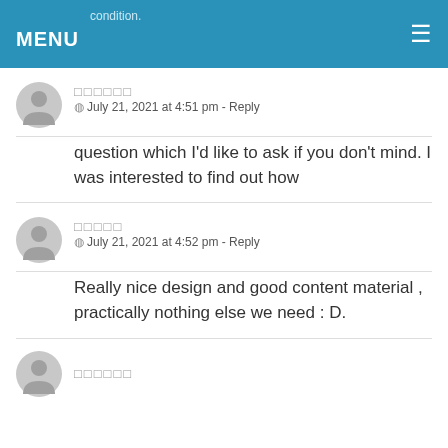MENU
condition.
□□□□□□
⊙ July 21, 2021 at 4:51 pm - Reply
question which I'd like to ask if you don't mind. I was interested to find out how
□□□□□
⊙ July 21, 2021 at 4:52 pm - Reply
Really nice design and good content material , practically nothing else we need : D.
□□□□□□